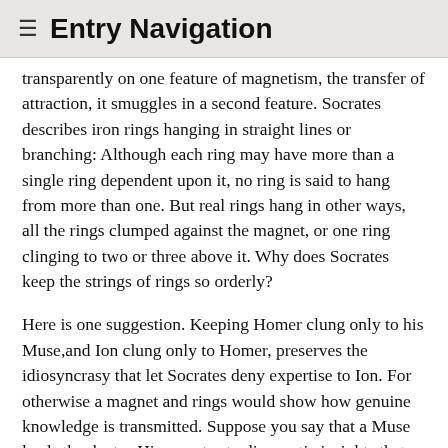☰ Entry Navigation
transparently on one feature of magnetism, the transfer of attraction, it smuggles in a second feature. Socrates describes iron rings hanging in straight lines or branching: Although each ring may have more than a single ring dependent upon it, no ring is said to hang from more than one. But real rings hang in other ways, all the rings clumped against the magnet, or one ring clinging to two or three above it. Why does Socrates keep the strings of rings so orderly?
Here is one suggestion. Keeping Homer clung only to his Muse,and Ion clung only to Homer, preserves the idiosyncrasy that let Socrates deny expertise to Ion. For otherwise a magnet and rings would show how genuine knowledge is transmitted. Suppose you say that a Muse leads the doctor Hippocrates to diagnostic insights that he tells his students and they tell theirs. That much divine help is all that the image of magnet and rings strictly implies, and it is no threat to a profession's understanding of itself. But no one would claim that a doctor can learn only from a single other doctor, or that a doctor treats a